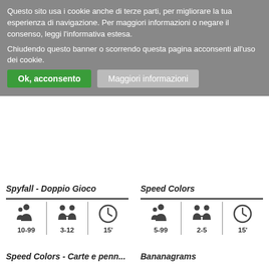Questo sito usa i cookie anche di terze parti, per migliorare la tua esperienza di navigazione. Per maggiori informazioni o negare il consenso, leggi l'informativa estesa. Chiudendo questo banner o scorrendo questa pagina acconsenti all'uso dei cookie.
Ok, acconsento
Maggiori informazioni
Spyfall - Doppio Gioco
[Figure (infographic): Icons showing age 10-99, players 3-12, duration 15 minutes]
Speed Colors
[Figure (infographic): Icons showing age 5-99, players 2-5, duration 15 minutes]
Speed Colors - Carte e penn...
Bananagrams